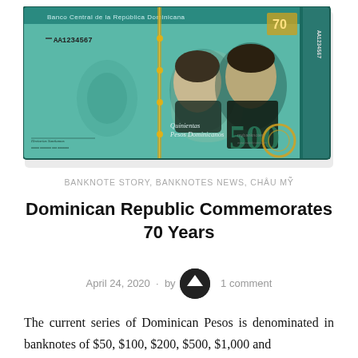[Figure (photo): Dominican Republic 500 Pesos Dominicanos banknote showing two portraits, serial number AA1234567, and the text Quinientas Pesos Dominicanos]
BANKNOTE STORY, BANKNOTES NEWS, CHÂU MỸ
Dominican Republic Commemorates 70 Years
April 24, 2020 · by [author] · 1 comment
The current series of Dominican Pesos is denominated in banknotes of $50, $100, $200, $500, $1,000 and